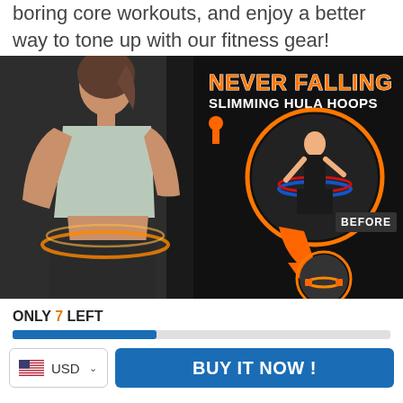boring core workouts, and enjoy a better way to tone up with our fitness gear!
[Figure (photo): Product advertisement image for 'Never Falling Slimming Hula Hoops'. Shows a woman in gym attire using a smart hula hoop around her waist in a gym setting. Text overlay reads 'NEVER FALLING SLIMMING HULA HOOPS'. Inset circles show before/after comparison with a woman in black sportswear labeled 'BEFORE'.]
ONLY 7 LEFT
BUY IT NOW !